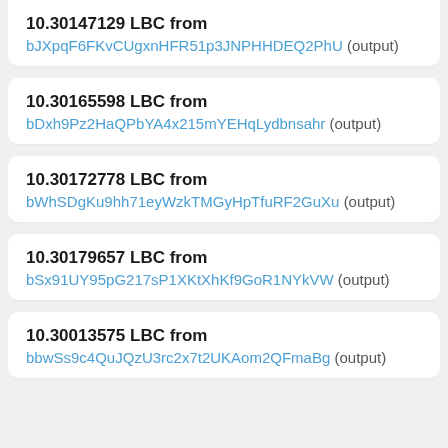10.30147129 LBC from bJXpqF6FKvCUgxnHFR51p3JNPHHDEQv2PhU (output)
10.30165598 LBC from bDxh9Pz2HaQPbYA4x215mYEHqLydbnsahr (output)
10.30172778 LBC from bWhSDgKu9hh71eyWzkTMGyHpTfuRF2GuXu (output)
10.30179657 LBC from bSx91UY95pG217sP1XKtXhKf9GoR1NYkVW (output)
10.30013575 LBC from bbwSs9c4QuJQzU3rc2x7t2UKAom2QFmaBg (output)